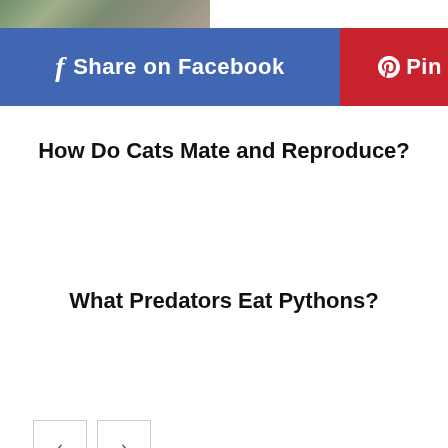[Figure (photo): Partial image at top of page, appears to show an animal close-up]
[Figure (infographic): Share on Facebook button (blue) and Pin button (red) side by side]
How Do Cats Mate and Reproduce?
What Predators Eat Pythons?
[Figure (infographic): Navigation previous and next arrow buttons]
Being Viewed